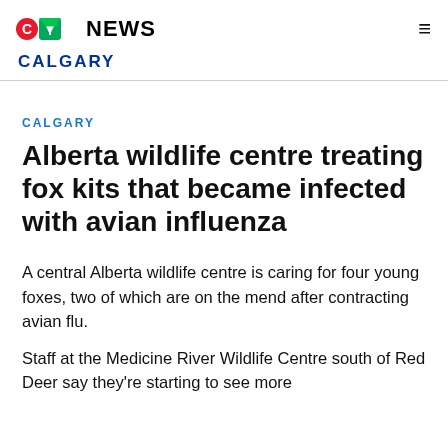CTV News Calgary
CALGARY
Alberta wildlife centre treating fox kits that became infected with avian influenza
A central Alberta wildlife centre is caring for four young foxes, two of which are on the mend after contracting avian flu.
Staff at the Medicine River Wildlife Centre south of Red Deer say they're starting to see more